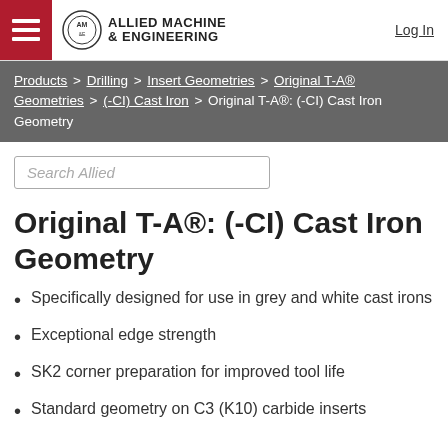Allied Machine & Engineering — Log In
Products > Drilling > Insert Geometries > Original T-A® Geometries > (-CI) Cast Iron > Original T-A®: (-CI) Cast Iron Geometry
Search Allied
Original T-A®: (-CI) Cast Iron Geometry
Specifically designed for use in grey and white cast irons
Exceptional edge strength
SK2 corner preparation for improved tool life
Standard geometry on C3 (K10) carbide inserts